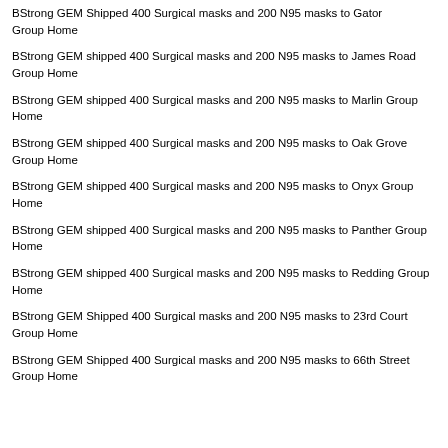BStrong GEM Shipped 400 Surgical masks and 200 N95 masks to Gator Group Home
BStrong GEM shipped 400 Surgical masks and 200 N95 masks to James Road Group Home
BStrong GEM shipped 400 Surgical masks and 200 N95 masks to Marlin Group Home
BStrong GEM shipped 400 Surgical masks and 200 N95 masks to Oak Grove Group Home
BStrong GEM shipped 400 Surgical masks and 200 N95 masks to Onyx Group Home
BStrong GEM shipped 400 Surgical masks and 200 N95 masks to Panther Group Home
BStrong GEM shipped 400 Surgical masks and 200 N95 masks to Redding Group Home
BStrong GEM Shipped 400 Surgical masks and 200 N95 masks to 23rd Court Group Home
BStrong GEM Shipped 400 Surgical masks and 200 N95 masks to 66th Street Group Home